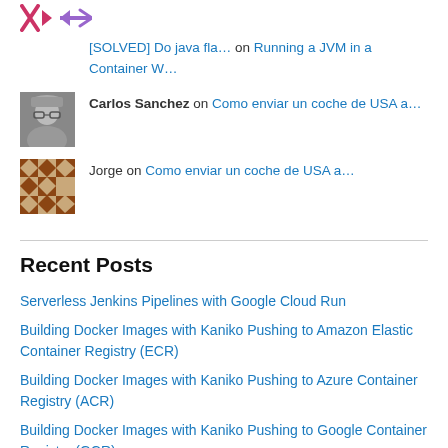[SOLVED] Do java fla… on Running a JVM in a Container W…
Carlos Sanchez on Como enviar un coche de USA a…
Jorge on Como enviar un coche de USA a…
Recent Posts
Serverless Jenkins Pipelines with Google Cloud Run
Building Docker Images with Kaniko Pushing to Amazon Elastic Container Registry (ECR)
Building Docker Images with Kaniko Pushing to Azure Container Registry (ACR)
Building Docker Images with Kaniko Pushing to Google Container Registry (GCR)
Building Docker Images with Kaniko Pushing to Docker Registries